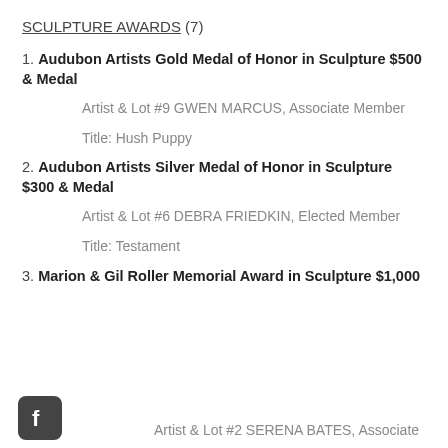SCULPTURE AWARDS (7)
1. Audubon Artists Gold Medal of Honor in Sculpture $500 & Medal
Artist & Lot #9 GWEN MARCUS, Associate Member
Title: Hush Puppy
2. Audubon Artists Silver Medal of Honor in Sculpture $300 & Medal
Artist & Lot #6 DEBRA FRIEDKIN, Elected Member
Title: Testament
3. Marion & Gil Roller Memorial Award in Sculpture $1,000
Artist & Lot #2 SERENA BATES, Associate